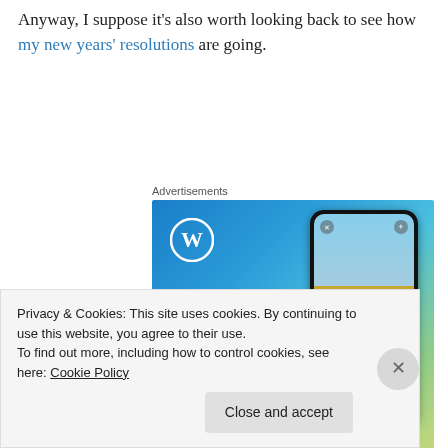Anyway, I suppose it's also worth looking back to see how my new years' resolutions are going.
Advertisements
[Figure (illustration): WordPress advertisement banner showing 'Create immersive stories.' with WordPress logo and a phone mockup displaying a waterfall image with 'VISITING SKÓGAFOSS' banner]
Privacy & Cookies: This site uses cookies. By continuing to use this website, you agree to their use.
To find out more, including how to control cookies, see here: Cookie Policy
Close and accept